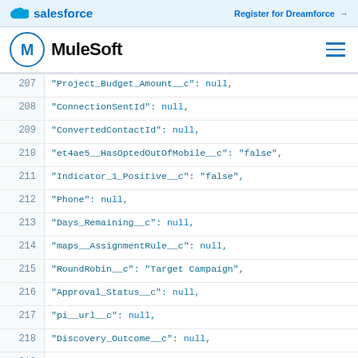salesforce | Register for Dreamforce →
MuleSoft
207   "Project_Budget_Amount__c": null,
208   "ConnectionSentId": null,
209   "ConvertedContactId": null,
210   "et4ae5__HasOptedOutOfMobile__c": "false",
211   "Indicator_1_Positive__c": "false",
212   "Phone": null,
213   "Days_Remaining__c": null,
214   "maps__AssignmentRule__c": null,
215   "RoundRobin__c": "Target Campaign",
216   "Approval_Status__c": null,
217   "pi__url__c": null,
218   "Discovery_Outcome__c": null,
219   "SlickSidebar_Tab_Name__c": "Max Mule",
220   "IsUnreadByOwner": "false",
221   "Title": null,